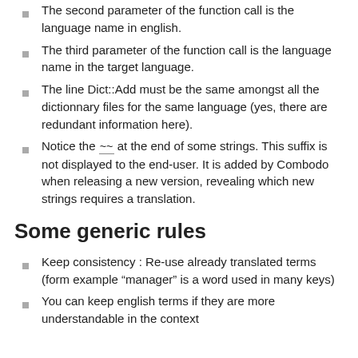The second parameter of the function call is the language name in english.
The third parameter of the function call is the language name in the target language.
The line Dict::Add must be the same amongst all the dictionnary files for the same language (yes, there are redundant information here).
Notice the ~~ at the end of some strings. This suffix is not displayed to the end-user. It is added by Combodo when releasing a new version, revealing which new strings requires a translation.
Some generic rules
Keep consistency : Re-use already translated terms (form example “manager” is a word used in many keys)
You can keep english terms if they are more understandable in the context